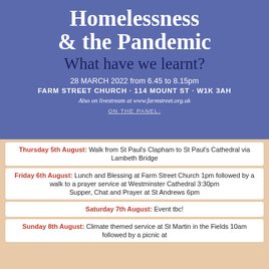Homelessness & the Pandemic What have we learnt?
28 MARCH 2022 from 6.45 to 8.15pm
FARM STREET CHURCH · 114 MOUNT ST · W1K 3AH
Also on livestream at www.farmstreet.org.uk
ON THE PANEL:
Thursday 5th August: Walk from St Paul's Clapham to St Paul's Cathedral via Lambeth Bridge
Friday 6th August: Lunch and Blessing at Farm Street Church 1pm followed by a walk to a prayer service at Westminster Cathedral 3:30pm Supper, Chat and Prayer at St Andrews 6pm
Saturday 7th August: Event tbc!
Sunday 8th August: Climate themed service at St Martin in the Fields 10am followed by a picnic at